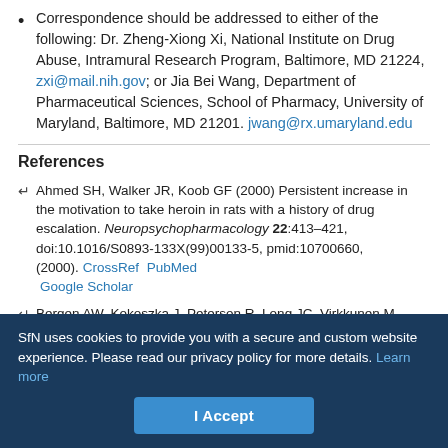Correspondence should be addressed to either of the following: Dr. Zheng-Xiong Xi, National Institute on Drug Abuse, Intramural Research Program, Baltimore, MD 21224, zxi@mail.nih.gov; or Jia Bei Wang, Department of Pharmaceutical Sciences, School of Pharmacy, University of Maryland, Baltimore, MD 21201. jwang@rx.umaryland.edu
References
Ahmed SH, Walker JR, Koob GF (2000) Persistent increase in the motivation to take heroin in rats with a history of drug escalation. Neuropsychopharmacology 22:413–421, doi:10.1016/S0893-133X(99)00133-5, pmid:10700660, (2000). CrossRef PubMed Google Scholar
Bergen AW, Kokoszka J, Peterson R, Long JC, Virkkunen M, Linnoila M, ...
SfN uses cookies to provide you with a secure and custom website experience. Please read our privacy policy for more details. Learn more